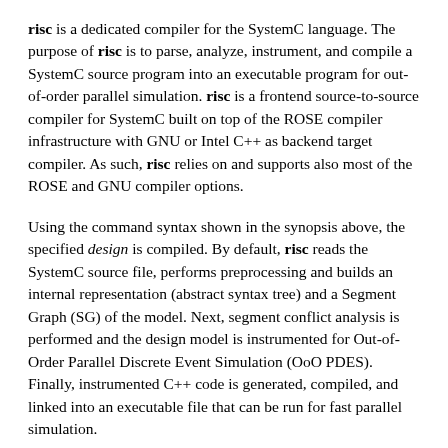risc is a dedicated compiler for the SystemC language. The purpose of risc is to parse, analyze, instrument, and compile a SystemC source program into an executable program for out-of-order parallel simulation. risc is a frontend source-to-source compiler for SystemC built on top of the ROSE compiler infrastructure with GNU or Intel C++ as backend target compiler. As such, risc relies on and supports also most of the ROSE and GNU compiler options.
Using the command syntax shown in the synopsis above, the specified design is compiled. By default, risc reads the SystemC source file, performs preprocessing and builds an internal representation (abstract syntax tree) and a Segment Graph (SG) of the model. Next, segment conflict analysis is performed and the design model is instrumented for Out-of-Order Parallel Discrete Event Simulation (OoO PDES). Finally, instrumented C++ code is generated, compiled, and linked into an executable file that can be run for fast parallel simulation.
On successful completion, the exit value 0 is returned. In case of errors during processing, an error code with a brief diagnostic message is written to the standard error stream and the compilation is aborted with an exit value greater than zero.
For preprocessing and C++ compilation into an executable file,